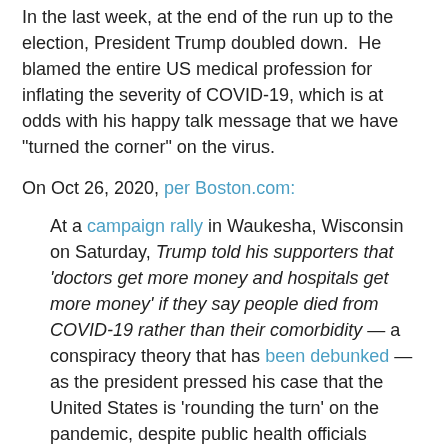In the last week, at the end of the run up to the election, President Trump doubled down.  He blamed the entire US medical profession for inflating the severity of COVID-19, which is at odds with his happy talk message that we have "turned the corner" on the virus.
On Oct 26, 2020, per Boston.com:
At a campaign rally in Waukesha, Wisconsin on Saturday, Trump told his supporters that 'doctors get more money and hospitals get more money' if they say people died from COVID-19 rather than their comorbidity — a conspiracy theory that has been debunked — as the president pressed his case that the United States is 'rounding the turn' on the pandemic, despite public health officials stressing repeatedly that the opposite is true.
On Oct 31, 2020, per CNN:
President Donald Trump on Friday baselessly claimed that doctors are inflating the coronavirus death count for monetary gain while cases,